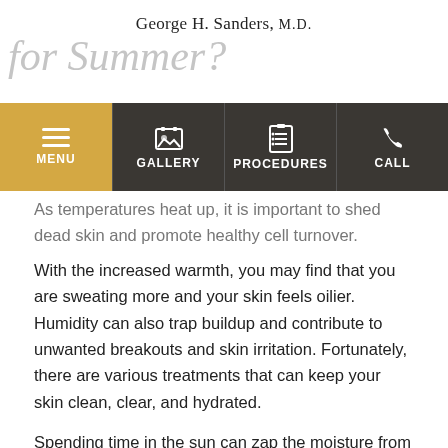George H. Sanders, M.D.
for Summer?
[Figure (screenshot): Navigation bar with MENU (gold/yellow background), GALLERY, PROCEDURES, and CALL buttons on dark background]
As temperatures heat up, it is important to shed dead skin and promote healthy cell turnover. With the increased warmth, you may find that you are sweating more and your skin feels oilier. Humidity can also trap buildup and contribute to unwanted breakouts and skin irritation. Fortunately, there are various treatments that can keep your skin clean, clear, and hydrated.

Spending time in the sun can zap the moisture from your skin and leave it feeling dry and itchy.